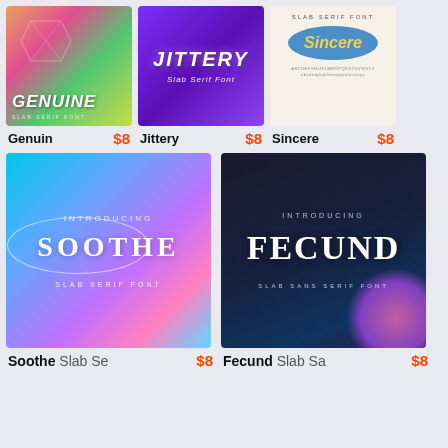[Figure (illustration): Genuine Slab Serif Font thumbnail - colorful gradient background with geometric grid overlay and bold italic white text]
Genuin $8
[Figure (illustration): Jittery Slab Serif Font thumbnail - purple gradient background with glowing bold italic white title text]
Jittery $8
[Figure (illustration): Sincere Slab Serif Font thumbnail - beige background with blue oval containing golden italic text]
Sincere $8
[Figure (illustration): Soothe Slab Serif Font thumbnail - colorful blue/purple gradient with large serif text and oval outline]
Soothe Slab Se $8
[Figure (illustration): Fecund Slab Sans Serif Font thumbnail - dark navy/purple background with large bold white text and pink glow]
Fecund Slab Sa $8